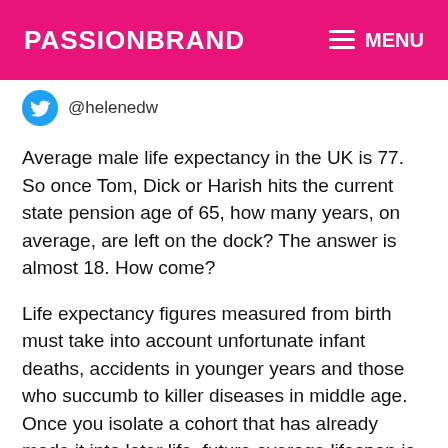PASSIONBRAND   MENU
@helenedw
Average male life expectancy in the UK is 77. So once Tom, Dick or Harish hits the current state pension age of 65, how many years, on average, are left on the dock? The answer is almost 18. How come?
Life expectancy figures measured from birth must take into account unfortunate infant deaths, accidents in younger years and those who succumb to killer diseases in middle age. Once you isolate a cohort that has already made it into later life, future average lifespan is no longer